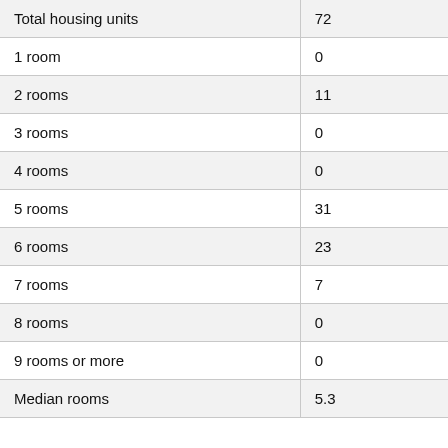| Total housing units | 72 |
| 1 room | 0 |
| 2 rooms | 11 |
| 3 rooms | 0 |
| 4 rooms | 0 |
| 5 rooms | 31 |
| 6 rooms | 23 |
| 7 rooms | 7 |
| 8 rooms | 0 |
| 9 rooms or more | 0 |
| Median rooms | 5.3 |